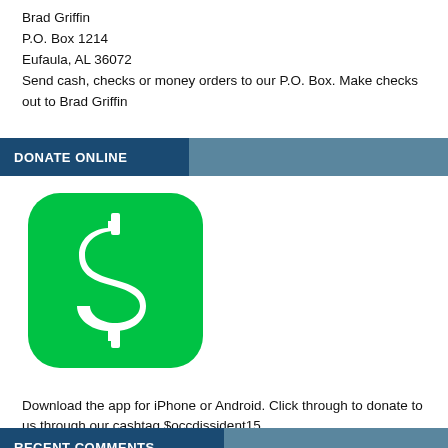Brad Griffin
P.O. Box 1214
Eufaula, AL 36072
Send cash, checks or money orders to our P.O. Box. Make checks out to Brad Griffin
DONATE ONLINE
[Figure (logo): Cash App logo: green rounded square with white dollar sign]
Download the app for iPhone or Android. Click through to donate to us through our cashtag $occdissident15.
RECENT COMMENTS